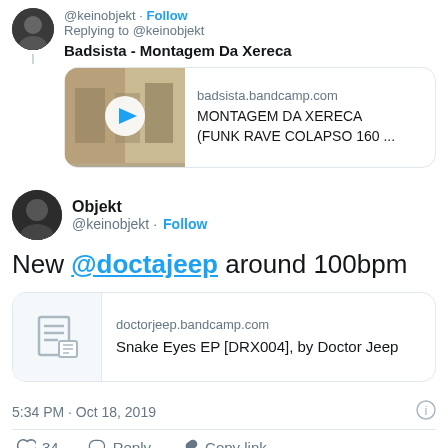Replying to @keinobjekt
Badsista - Montagem Da Xereca
[Figure (screenshot): Bandcamp media card showing thumbnail with play button for badsista.bandcamp.com - MONTAGEM DA XERECA (FUNK RAVE COLAPSO 160 ...]
Objekt @keinobjekt · Follow
New @doctajeep around 100bpm
[Figure (screenshot): Link card for doctorjeep.bandcamp.com - Snake Eyes EP [DRX004], by Doctor Jeep]
5:34 PM · Oct 18, 2019
❤ 34  Reply  Copy link